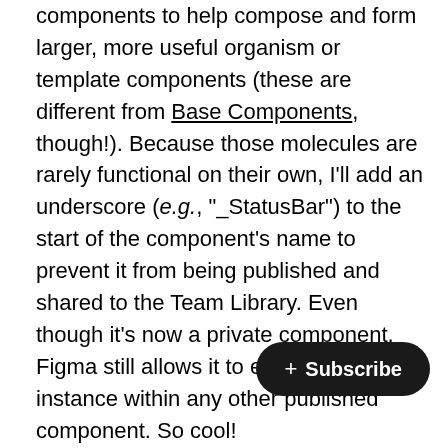components to help compose and form larger, more useful organism or template components (these are different from Base Components, though!). Because those molecules are rarely functional on their own, I'll add an underscore (e.g., "_StatusBar") to the start of the component's name to prevent it from being published and shared to the Team Library. Even though it's now a private component, Figma still allows it to exist as a nested instance within any other published component. So cool!

As for the names of these helper components, I recommend including the name of the component for where this molecule will eventually live (if applicable), followed by a hyphen and the name of the molecule, written using camelCase. The reason this is so that when using a component, it's easy to see